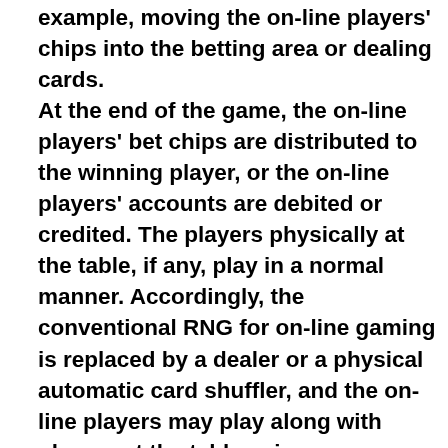example, moving the on-line players' chips into the betting area or dealing cards. At the end of the game, the on-line players' bet chips are distributed to the winning player, or the on-line players' accounts are debited or credited. The players physically at the table, if any, play in a normal manner. Accordingly, the conventional RNG for on-line gaming is replaced by a dealer or a physical automatic card shuffler, and the on-line players may play along with players at the table using conventional physical elements (e.g., cards, chips) for playing the game. Any type of table game may be played. The inventive system allows the technology